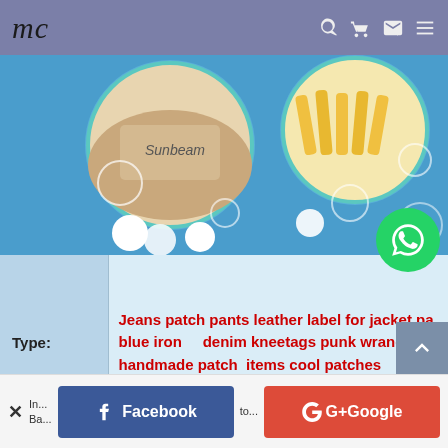mc  [navigation icons: search, cart, account, menu]
[Figure (screenshot): E-commerce website banner with blue background showing product images in circular frames (Sunbeam label, fries/noodles), decorative white circle outlines on blue background]
| Type: | Description |
| --- | --- |
| Type: | Jeans patch pants leather label for jacket pa blue iron    denim kneetags punk wrangler handmade patch  items cool patches |
[Figure (other): WhatsApp contact floating button (green circle with phone handset icon)]
[Figure (other): Back to top button (grey square with upward chevron)]
x  In... [truncated]  Ba...  Facebook   G+Google